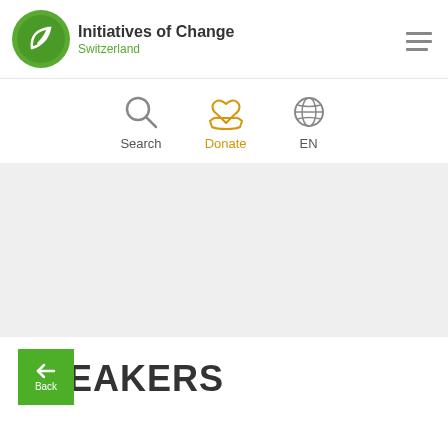[Figure (logo): Initiatives of Change Switzerland logo with green circular icon and text]
Initiatives of Change Switzerland
[Figure (infographic): Navigation icons: Search (magnifying glass), Donate (heart and hand, in orange), EN globe language selector]
[Figure (photo): Gray placeholder image band]
Back
SPEAKERS